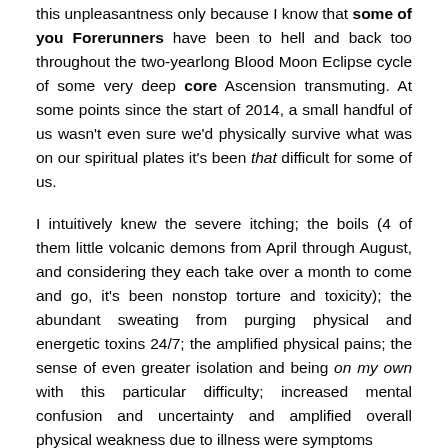this unpleasantness only because I know that some of you Forerunners have been to hell and back too throughout the two-yearlong Blood Moon Eclipse cycle of some very deep core Ascension transmuting. At some points since the start of 2014, a small handful of us wasn't even sure we'd physically survive what was on our spiritual plates it's been that difficult for some of us.
I intuitively knew the severe itching; the boils (4 of them little volcanic demons from April through August, and considering they each take over a month to come and go, it's been nonstop torture and toxicity); the abundant sweating from purging physical and energetic toxins 24/7; the amplified physical pains; the sense of even greater isolation and being on my own with this particular difficulty; increased mental confusion and uncertainty and amplified overall physical weakness due to illness were symptoms